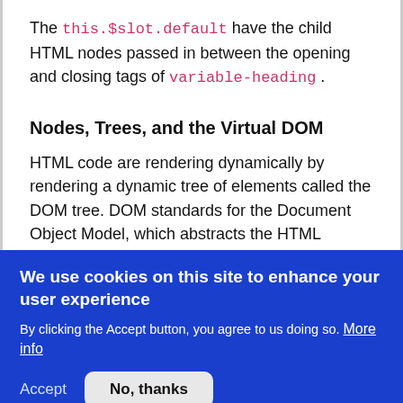The this.$slot.default have the child HTML nodes passed in between the opening and closing tags of variable-heading .
Nodes, Trees, and the Virtual DOM
HTML code are rendering dynamically by rendering a dynamic tree of elements called the DOM tree. DOM standards for the Document Object Model, which abstracts the HTML structure into a tree.
We use cookies on this site to enhance your user experience
By clicking the Accept button, you agree to us doing so. More info
Accept  No, thanks